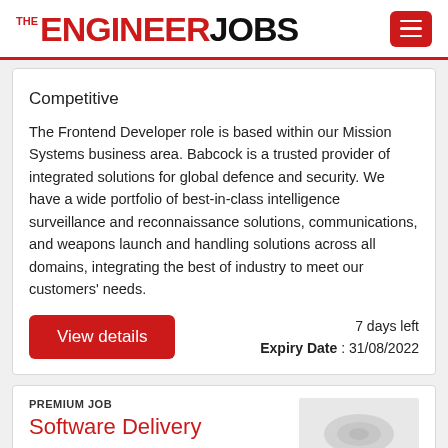THE ENGINEER JOBS
Competitive
The Frontend Developer role is based within our Mission Systems business area. Babcock is a trusted provider of integrated solutions for global defence and security. We have a wide portfolio of best-in-class intelligence surveillance and reconnaissance solutions, communications, and weapons launch and handling solutions across all domains, integrating the best of industry to meet our customers' needs.
7 days left
Expiry Date : 31/08/2022
View details
PREMIUM JOB
Software Delivery